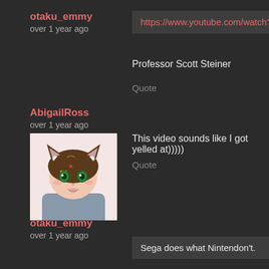otaku_emmy
over 1 year ago
https://www.youtube.com/watch?v=WR...
Professor Scott Steiner
Quote
AbigailRoss
over 1 year ago
[Figure (illustration): Anime-style avatar of a brown-haired girl with cat ears and green eyes]
This video sounds like I got yelled at)))))
Quote
otaku_emmy
over 1 year ago
Sega does what Nintendon't.